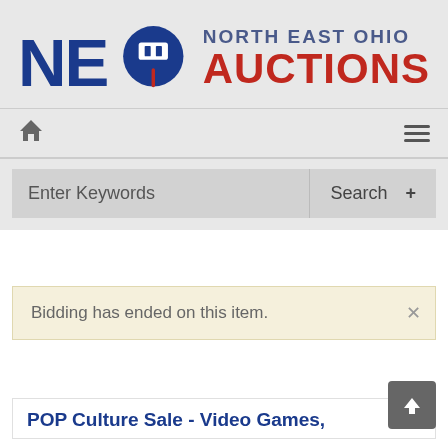[Figure (logo): NEO Auctions logo - North East Ohio Auctions with gavel icon]
[Figure (screenshot): Navigation bar with home icon and hamburger menu]
[Figure (screenshot): Search bar with Enter Keywords input and Search + button]
Bidding has ended on this item.
POP Culture Sale - Video Games,